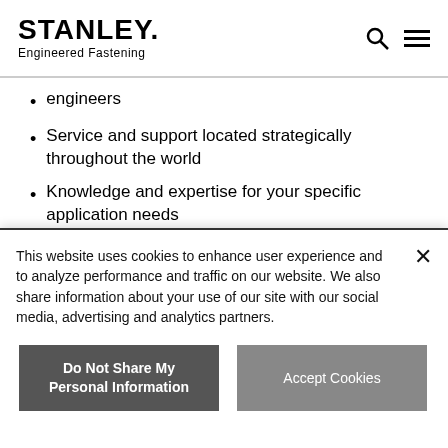STANLEY. Engineered Fastening
engineers
Service and support located strategically throughout the world
Knowledge and expertise for your specific application needs
Identification or development of the solution to optimize performance and the life of the tool to
This website uses cookies to enhance user experience and to analyze performance and traffic on our website. We also share information about your use of our site with our social media, advertising and analytics partners.
Do Not Share My Personal Information
Accept Cookies